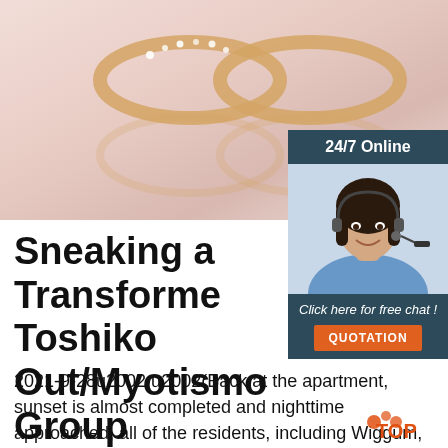[Figure (photo): Close-up photo of rose gold infinity rings with diamonds on a light pink background]
[Figure (photo): Advertisement box with '24/7 Online' header, photo of woman with headset smiling, 'Click here for free chat!' text, and orange QUOTATION button]
Sneaking a Transformer Toshiko Out/Myotismon Group
2021-9-28u2002·u2002(Back at the apartment, sunset is almost completed and nighttime approached, all of the residents, including Wiggum, Lou, and Eddie, are silently sitting around, eating dinner. In the back room, Sora and Biyomon came in, having already dropped Enona off in the stable